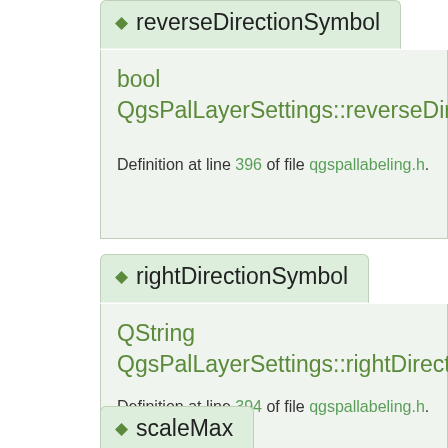reverseDirectionSymbol
bool QgsPalLayerSettings::reverseDirectionSym
Definition at line 396 of file qgspallabeling.h.
rightDirectionSymbol
QString QgsPalLayerSettings::rightDirectionSymbo
Definition at line 394 of file qgspallabeling.h.
scaleMax